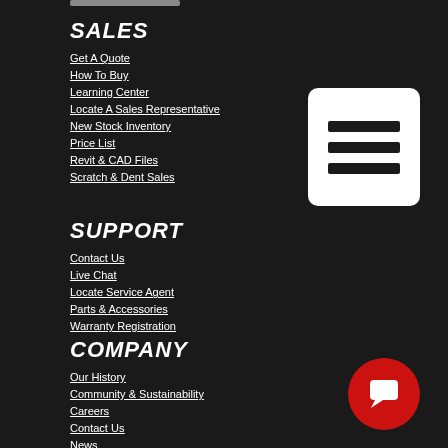SALES
Get A Quote
How To Buy
Learning Center
Locate A Sales Representative
New Stock Inventory
Price List
Revit & CAD Files
Scratch & Dent Sales
[Figure (other): White rounded rectangle menu icon with three black horizontal bars]
SUPPORT
Contact Us
Live Chat
Locate Service Agent
Parts & Accessories
Warranty Registration
COMPANY
Our History
Community & Sustainability
Careers
Contact Us
News
Events
[Figure (other): Red circular chat/message button icon]